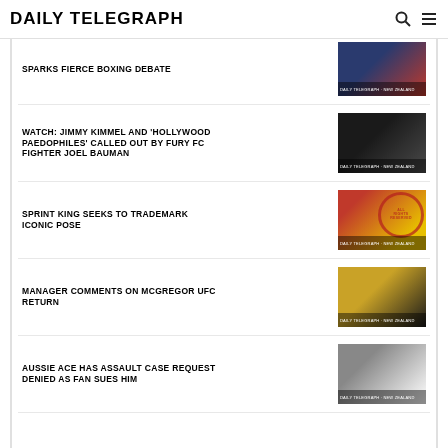DAILY TELEGRAPH
SPARKS FIERCE BOXING DEBATE
WATCH: JIMMY KIMMEL AND 'HOLLYWOOD PAEDOPHILES' CALLED OUT BY FURY FC FIGHTER JOEL BAUMAN
SPRINT KING SEEKS TO TRADEMARK ICONIC POSE
MANAGER COMMENTS ON MCGREGOR UFC RETURN
AUSSIE ACE HAS ASSAULT CASE REQUEST DENIED AS FAN SUES HIM